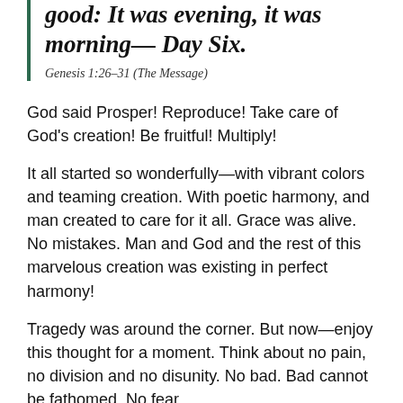good: It was evening, it was morning— Day Six.
Genesis 1:26–31 (The Message)
God said Prosper! Reproduce! Take care of God's creation! Be fruitful! Multiply!
It all started so wonderfully—with vibrant colors and teaming creation. With poetic harmony, and man created to care for it all. Grace was alive. No mistakes. Man and God and the rest of this marvelous creation was existing in perfect harmony!
Tragedy was around the corner. But now—enjoy this thought for a moment. Think about no pain, no division and no disunity. No bad. Bad cannot be fathomed. No fear.